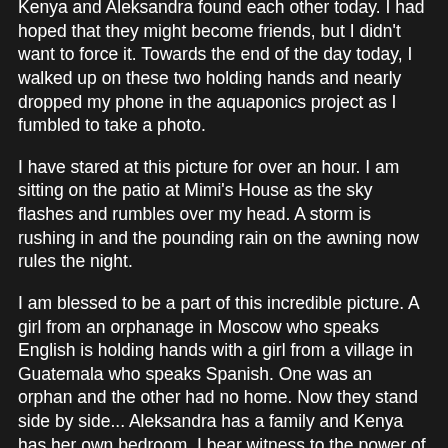Kenya and Aleksandra found each other today. I had hoped that they might become friends, but I didn't want to force it. Towards the end of the day today, I walked up on these two holding hands and nearly dropped my phone in the aquaponics project as I fumbled to take a photo.
I have stared at this picture for over an hour. I am sitting on the patio at Mimi's House as the sky flashes and rumbles over my head. A storm is rushing in and the pounding rain on the awning now rules the night.
I am blessed to be a part of this incredible picture. A girl from an orphanage in Moscow who speaks English is holding hands with a girl from a village in Guatemala who speaks Spanish. One was an orphan and the other had no home. Now they stand side by side... Aleksandra has a family and Kenya has her own bedroom. I bear witness to the power of God's love and incredible provision that causes miracles to happen.
I learned today that the girls are nearly the same age, both will be 9 in September. How incredible that their stories have crossed through this adventure that God has led us...